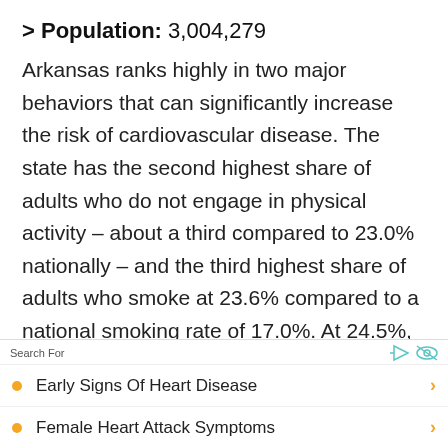> Population: 3,004,279
Arkansas ranks highly in two major behaviors that can significantly increase the risk of cardiovascular disease. The state has the second highest share of adults who do not engage in physical activity – about a third compared to 23.0% nationally – and the third highest share of adults who smoke at 23.6% compared to a national smoking rate of 17.0%. At 24.5%, no other state has a higher share of adults who report being in
Search For
Early Signs Of Heart Disease
Female Heart Attack Symptoms